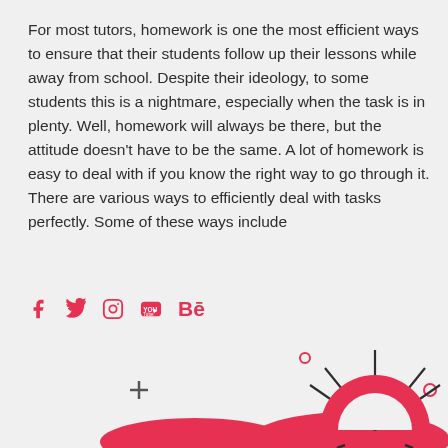For most tutors, homework is one the most efficient ways to ensure that their students follow up their lessons while away from school. Despite their ideology, to some students this is a nightmare, especially when the task is in plenty. Well, homework will always be there, but the attitude doesn't have to be the same. A lot of homework is easy to deal with if you know the right way to go through it. There are various ways to efficiently deal with tasks perfectly. Some of these ways include
[Figure (infographic): Social media icons: Facebook, Twitter, Instagram, YouTube, Behance in red/pink color]
[Figure (illustration): Decorative illustration showing a red semicircle with radiating lines (sunrise/rainbow motif) on the right, a red arch/hill shape in the center, small circles and a plus sign scattered around, on a light gray background]